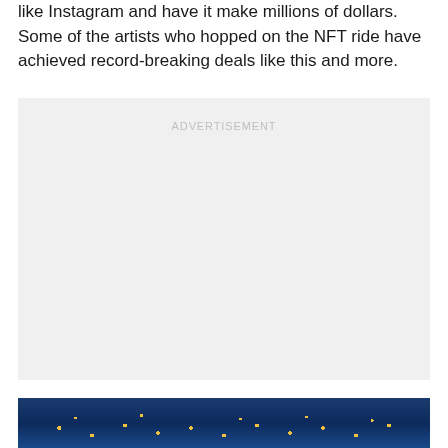like Instagram and have it make millions of dollars. Some of the artists who hopped on the NFT ride have achieved record-breaking deals like this and more.
[Figure (other): Advertisement placeholder box with light gray background and 'ADVERTISEMENT' label in light gray text]
[Figure (photo): Partial image strip at bottom showing a dark blue background with yellow/gold dot patterns, likely a technology or blockchain related image]